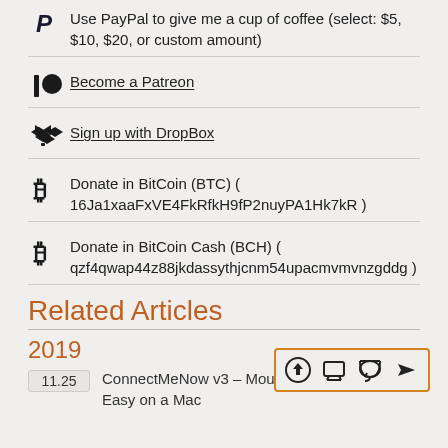Use PayPal to give me a cup of coffee (select: $5, $10, $20, or custom amount)
Become a Patreon
Sign up with DropBox
Donate in BitCoin (BTC) ( 16Ja1xaaFxVE4FkRfkH9fP2nuyPA1Hk7kR )
Donate in BitCoin Cash (BCH) ( qzf4qwap44z88jkdassythjcnm54upacmvmvnzgddg )
Related Articles
2019
11.25  ConnectMeNow v3 – Mount Ne… Easy on a Mac